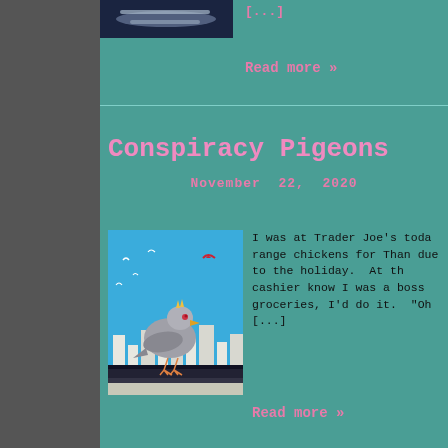[Figure (photo): Partial top image of what appears to be a bird or food item on dark background]
[...]
Read more »
Conspiracy Pigeons
November 22, 2020
[Figure (illustration): Illustration of a pigeon perched on a rail with a city skyline backdrop and blue sky]
I was at Trader Joe's toda range chickens for Than due to the holiday. At th cashier know I was a boss groceries, I'd do it. "Oh [...]
Read more »